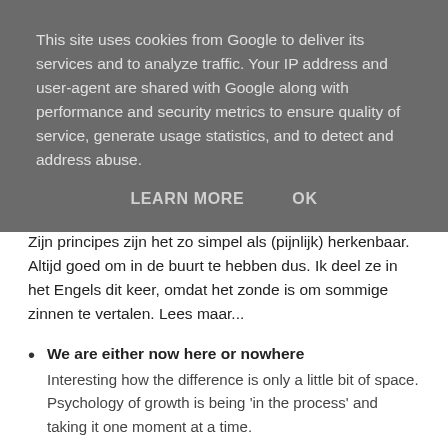This site uses cookies from Google to deliver its services and to analyze traffic. Your IP address and user-agent are shared with Google along with performance and security metrics to ensure quality of service, generate usage statistics, and to detect and address abuse.
LEARN MORE    OK
Zijn principes zijn het zo simpel als (pijnlijk) herkenbaar. Altijd goed om in de buurt te hebben dus. Ik deel ze in het Engels dit keer, omdat het zonde is om sommige zinnen te vertalen. Lees maar...
We are either now here or nowhere
Interesting how the difference is only a little bit of space. Psychology of growth is being 'in the process' and taking it one moment at a time.
Be in the Now and you'll know how
Tuning back into your body - listening - is essential to a good relationship.
Growth is the Most Important thing there is